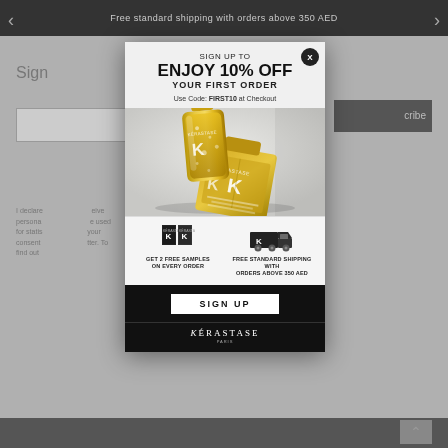Free standard shipping with orders above 350 AED
SIGN UP TO
ENJOY 10% OFF
YOUR FIRST ORDER
Use Code: FIRST10 at Checkout
[Figure (photo): Kérastase luxury hair care products — a golden oil serum bottle and a gold/black flat hair product bottle arranged aesthetically on a light grey background]
GET 2 FREE SAMPLES ON EVERY ORDER
FREE STANDARD SHIPPING WITH ORDERS ABOVE 350 AED
SIGN UP
KÉRASTASE
PARIS